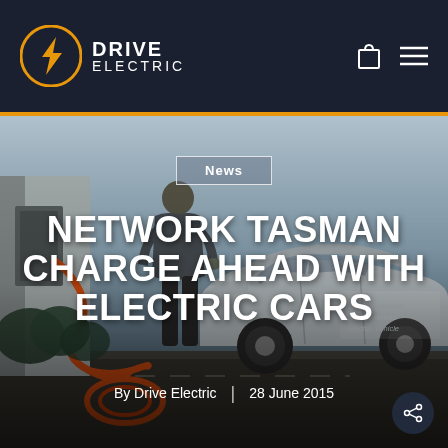DRIVE ELECTRIC
[Figure (photo): Man plugging in orange charging cable into a silver electric vehicle (Zero Emissions Electric Vehicle) in a parking area, viewed from the side. Background shows shrubs and sky.]
News
NETWORK TASMAN CHARGE AHEAD WITH ELECTRIC CARS
By Drive Electric  |  28 June 2015